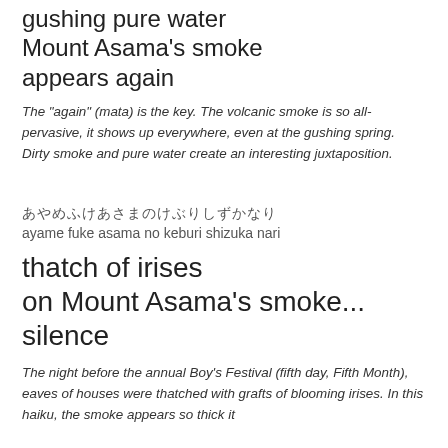gushing pure water
Mount Asama's smoke
appears again
The "again" (mata) is the key. The volcanic smoke is so all-pervasive, it shows up everywhere, even at the gushing spring. Dirty smoke and pure water create an interesting juxtaposition.
あやめふけあさまのけぶりしずかなり
ayame fuke asama no keburi shizuka nari
thatch of irises
on Mount Asama's smoke...
silence
The night before the annual Boy's Festival (fifth day, Fifth Month), eaves of houses were thatched with grafts of blooming irises. In this haiku, the smoke appears so thick it...